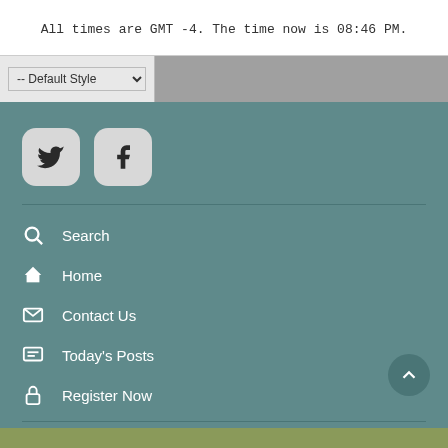All times are GMT -4. The time now is 08:46 PM.
[Figure (screenshot): Style selector dropdown showing '-- Default Style' with a chevron, next to a gray bar]
[Figure (screenshot): Footer area with teal/slate background containing Twitter and Facebook social media icon buttons (rounded square style), a horizontal divider, navigation links with icons: Search, Home, Contact Us, Today's Posts, Register Now, a back-to-top circular button, and a green strip at the bottom.]